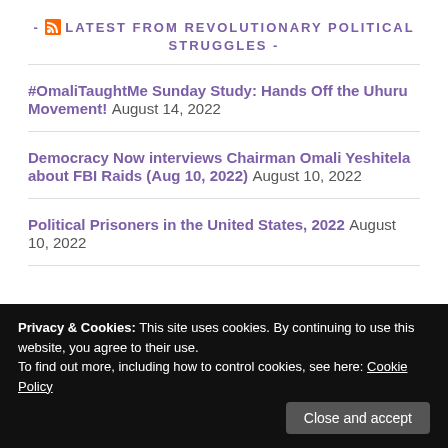- LATEST FROM REVOLUTIONARY POLITICAL STRUGGLES -
#OmaliTaughtMe Sunday Study: Hands Off the Uhuru Movement! August 14, 2022
Democracy Now interviews Chairman Omali Yeshitela about FBI Raids (Aug 10, 2022) August 10, 2022
Political Prisoners in the United States, 2022 August 10, 2022
Privacy & Cookies: This site uses cookies. By continuing to use this website, you agree to their use.
To find out more, including how to control cookies, see here: Cookie Policy